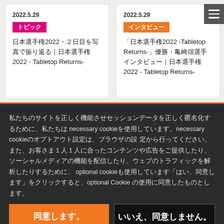2022.5.29
トピック
日本選手権2022・２日目を写真で振り返る｜日本選手権2022 - Tabletop Returns-
2022.5.29
インタビュー
「日本選手権2022 -Tabletop Returns-」優勝・亀崎頌選手インタビュー｜日本選手権2022 - Tabletop Returns-
私たちのサイトを正しく機能させセッションデータを正しく匿名化するために、私たちはnecessary cookieを使用しています。necessary cookieのオプトアウト設定は、ブラウザの設定から行ってください。また、お客さま１人１人に合ったコンテンツや広告をご提供したり、ソーシャルメディアの機能を配信したり、ウェブのトラフィックを解析したりするために、optional cookieも使用しています「はい、同意します」をクリックすると、optional Cookieの使用に同意したものとします。
同意します。
いいえ、同意しません。
（Cookieについて詳しく）